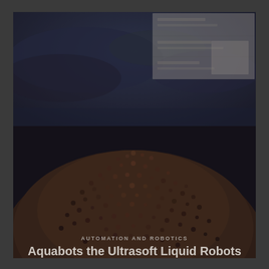[Figure (photo): A close-up photograph of a fuzzy, granular robotic swarm or soft robotic structure resembling sand or tiny particles clumped together in a dome shape, set against a dark blue background. The image suggests liquid or soft robot technology. There is a semi-transparent overlay panel in the upper right portion of the image showing faint text/UI elements.]
AUTOMATION AND ROBOTICS
Aquabots the Ultrasoft Liquid Robots